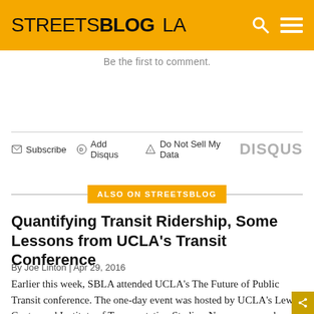STREETSBLOG LA
Be the first to comment.
Subscribe  Add Disqus  Do Not Sell My Data  DISQUS
ALSO ON STREETSBLOG
Quantifying Transit Ridership, Some Lessons from UCLA's Transit Conference
By Joe Linton | Apr 29, 2016
Earlier this week, SBLA attended UCLA's The Future of Public Transit conference. The one-day event was hosted by UCLA's Lewis Center and Institute of Transportation Studies. Numerous speakers spoke on the evolving landscape for public transit and broader mobility – from Houston to New York to Los Angeles. This article recaps